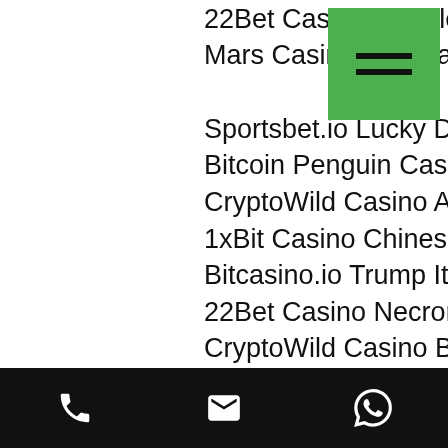22Bet Casino Temple of Luxe
Mars Casino She's a Rich Gi
Sportsbet.io Lucky Drink
Bitcoin Penguin Casino Sparks
CryptoWild Casino Atomic Age
1xBit Casino Chinese New Year
Bitcasino.io Trump It
22Bet Casino Necromancer
CryptoWild Casino Blue Beard
OneHash God of Gamblers
https://bm.lineageii.net/profile/brandeesimmelink8501650/profile
https://www.momcheesecakes.com/profile/conradbachman6414790/profile
https://www.zimconsulting.com/profile/bookermahfouz15981102/profile
https://www.focusgroupinc.org/profile/arleanbobb9495973/profile